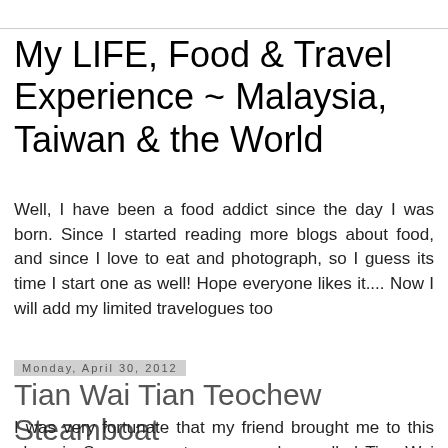My LIFE, Food & Travel Experience ~ Malaysia, Taiwan & the World
Well, I have been a food addict since the day I was born. Since I started reading more blogs about food, and since I love to eat and photograph, so I guess its time I start one as well! Hope everyone likes it.... Now I will add my limited travelogues too
Monday, April 30, 2012
Tian Wai Tian Teochew Steamboat
I was very fortunate that my friend brought me to this place in Serangoon at a corner shop called Tian Wai Tian Teochew Steamboat. Its at Opal Crescent so for those in Singapore, you can easily find this place on the map. There isn't much